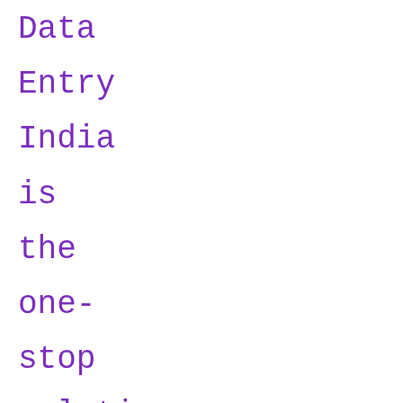Data Entry India is the one-stop solution for all your data keying requirements; we offer high accuracy, fast